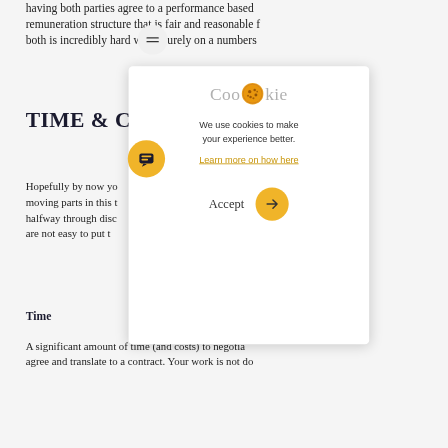having both parties agree to a performance based remuneration structure that is fair and reasonable for both is incredibly hard when purely on a numbers
TIME & CO
Hopefully by now yo... moving parts in this t... halfway through disc... are not easy to put t...
Time
A significant amount of time (and costs) to negotia... agree and translate to a contract. Your work is not do...
[Figure (screenshot): Cookie consent modal overlay with cookie icon, text 'We use cookies to make your experience better.', 'Learn more on how here' link, Accept text and yellow arrow button]